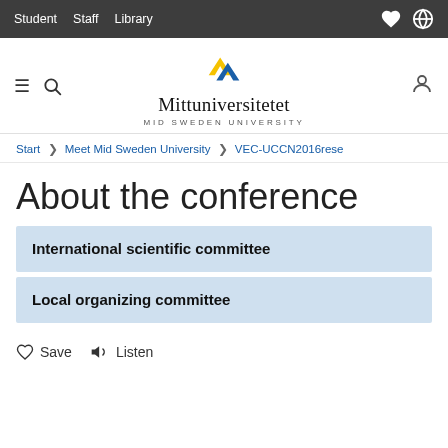Student  Staff  Library
[Figure (logo): Mittuniversitetet / Mid Sweden University logo with yellow and blue geometric mark]
Start > Meet Mid Sweden University > VEC-UCCN2016rese
About the conference
International scientific committee
Local organizing committee
Save  Listen